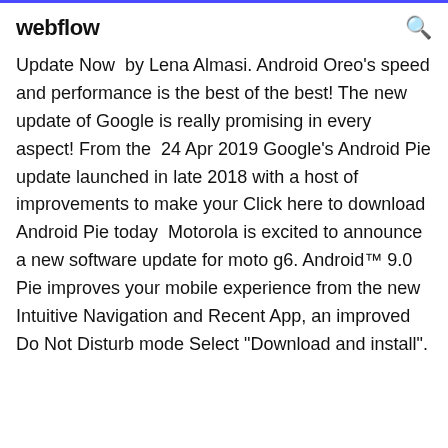webflow
Update Now  by Lena Almasi. Android Oreo's speed and performance is the best of the best! The new update of Google is really promising in every aspect! From the  24 Apr 2019 Google's Android Pie update launched in late 2018 with a host of improvements to make your Click here to download Android Pie today  Motorola is excited to announce a new software update for moto g6. Android™ 9.0 Pie improves your mobile experience from the new Intuitive Navigation and Recent App, an improved Do Not Disturb mode Select "Download and install".